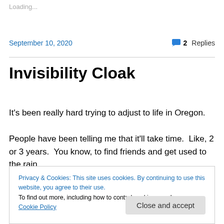Loading...
September 10, 2020   💬 2 Replies
Invisibility Cloak
It's been really hard trying to adjust to life in Oregon.
People have been telling me that it'll take time.  Like, 2 or 3 years.  You know, to find friends and get used to the rain.
Privacy & Cookies: This site uses cookies. By continuing to use this website, you agree to their use.
To find out more, including how to control cookies, see here: Cookie Policy
Close and accept
wracking my brain to figure out what is different about this